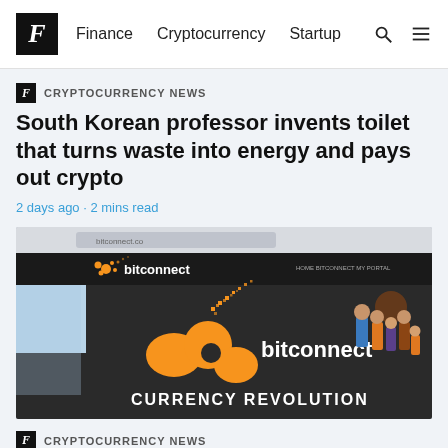F  Finance  Cryptocurrency  Startup
F  CRYPTOCURRENCY NEWS
South Korean professor invents toilet that turns waste into energy and pays out crypto
2 days ago · 2 mins read
[Figure (screenshot): Screenshot of the Bitconnect website showing the bitconnect logo (orange swirl/ripple) and 'CURRENCY REVOLUTION' text, with animated figures on the right side]
F  CRYPTOCURRENCY NEWS